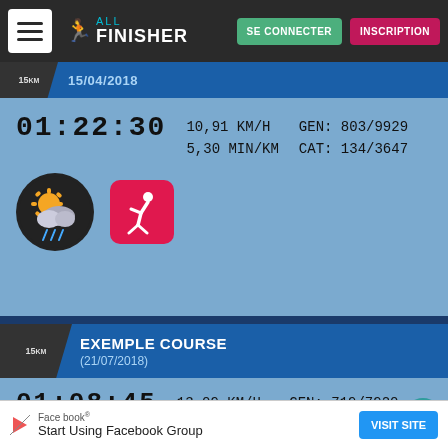[Figure (screenshot): AllFinisher app navigation bar with menu button, logo, SE CONNECTER and INSCRIPTION buttons]
15km (race title truncated)
01:22:30  10,91 KM/H  GEN: 803/9929
          5,30 MIN/KM  CAT: 134/3647
[Figure (illustration): Weather icon: sun with clouds and rain, and a running app icon on red background]
EXEMPLE COURSE (21/07/2018)
01:08:45  13,09 KM/H  GEN: 719/7920
          4,35 MIN/KM  CAT: 197/3545
[Figure (illustration): Weather icon showing cloudy, and running app icon on red background]
Face book® Start Using Facebook Group
VISIT SITE